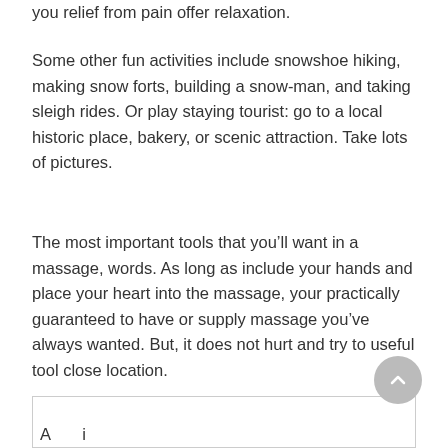you relief from pain offer relaxation.
Some other fun activities include snowshoe hiking, making snow forts, building a snowman, and taking sleigh rides. Or play staying tourist: go to a local historic place, bakery, or scenic attraction. Take lots of pictures.
The most important tools that you’ll want in a massage, words. As long as include your hands and place your heart into the massage, your practically guaranteed to have or supply massage you’ve always wanted. But, it does not hurt and try to useful tool close location.